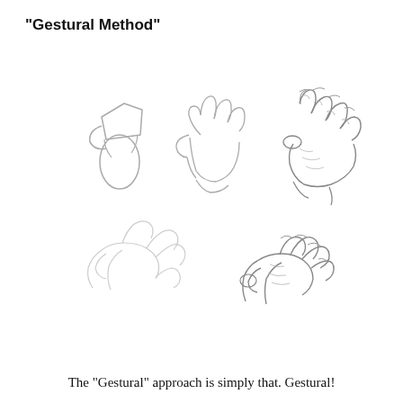“Gestural Method”
[Figure (illustration): Six pencil sketch drawings of hands demonstrating the Gestural Method of drawing. Top row shows three progressive sketches of an open hand viewed from the front/palm side, starting from simple shapes (oval and pentagon base forms), to a rough outline with fingers, to a more detailed shaded hand with spread fingers. Bottom row shows two sketches of a hand in a grasping/claw-like pose, the first being a light gestural sketch and the second being a more detailed rendering with shading.]
The “Gestural” approach is simply that. Gestural!